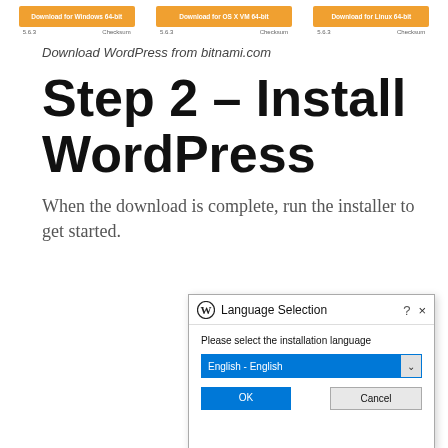[Figure (screenshot): Three download buttons for WordPress from bitnami.com (Windows 64-bit, OS X VM 64-bit, Linux 64-bit) each with version 5.6.3 and Checksum link below]
Download WordPress from bitnami.com
Step 2 – Install WordPress
When the download is complete, run the installer to get started.
[Figure (screenshot): WordPress installer Language Selection dialog box. Shows WordPress logo and title 'Language Selection' with ? and X buttons. Body text reads 'Please select the installation language' with a dropdown showing 'English - English' selected in blue. Buttons at bottom: OK and Cancel.]